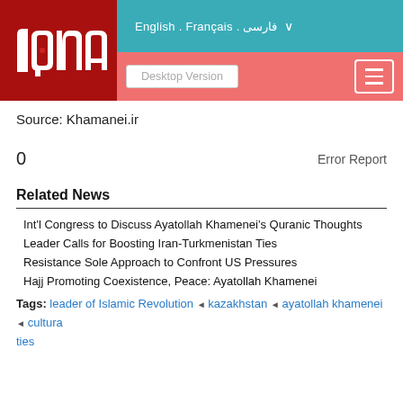[Figure (logo): IQNA logo in white on dark red background]
English . Français . فارسی ∨   Desktop Version  ≡
Source: Khamanei.ir
0   Error Report
Related News
Int'l Congress to Discuss Ayatollah Khamenei's Quranic Thoughts
Leader Calls for Boosting Iran-Turkmenistan Ties
Resistance Sole Approach to Confront US Pressures
Hajj Promoting Coexistence, Peace: Ayatollah Khamenei
Tags: leader of Islamic Revolution ◄ kazakhstan ◄ ayatollah khamenei ◄ cultural ties